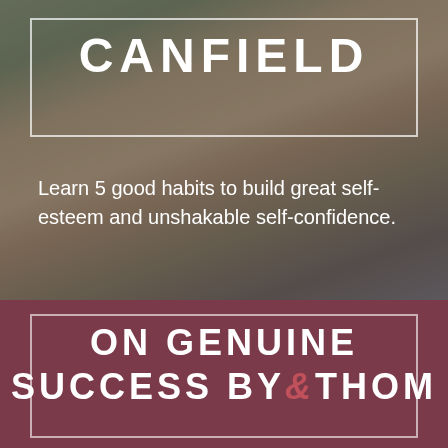[Figure (photo): Smiling young woman with long brown hair, photographed outdoors, used as background image. Dark overlay applied. Contains bordered box frame and title text CANFIELD at top.]
CANFIELD
Learn 5 good habits to build great self-esteem and unshakable self-confidence.
ON GENUINE SUCCESS BY THOM